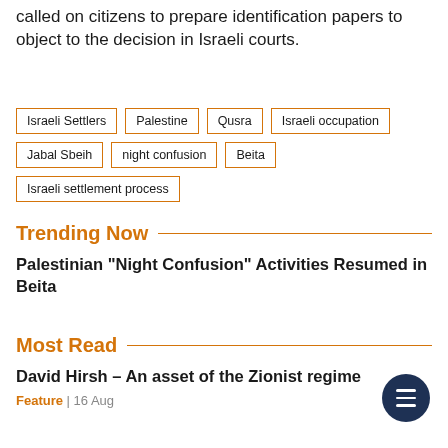called on citizens to prepare identification papers to object to the decision in Israeli courts.
Israeli Settlers
Palestine
Qusra
Israeli occupation
Jabal Sbeih
night confusion
Beita
Israeli settlement process
Trending Now
Palestinian "Night Confusion" Activities Resumed in Beita
Most Read
David Hirsh – An asset of the Zionist regime
Feature | 16 Aug